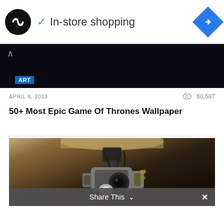[Figure (screenshot): Ad banner with circular logo (infinity-like symbol on black circle), checkmark and 'In-store shopping' text, blue diamond navigation icon on right]
[Figure (photo): Dark nearly black image strip with 'ART' blue tag label and upward chevron arrow on left]
APRIL 8, 2013   60,587
50+ Most Epic Game Of Thrones Wallpaper
[Figure (photo): Photo of a robotic camera gimbal/stabilizer mounted on a surface, with mechanical arms, lens, and cables visible against a warm-toned ceiling/wall background]
Share This  ×